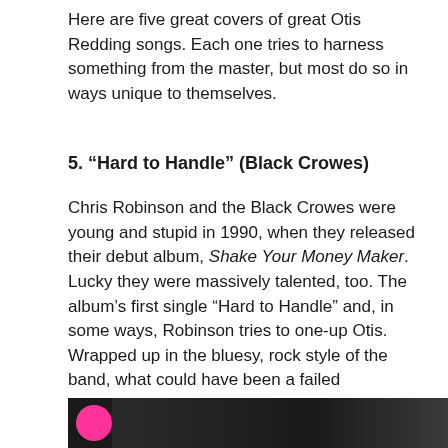Here are five great covers of great Otis Redding songs. Each one tries to harness something from the master, but most do so in ways unique to themselves.
5. “Hard to Handle” (Black Crowes)
Chris Robinson and the Black Crowes were young and stupid in 1990, when they released their debut album, Shake Your Money Maker. Lucky they were massively talented, too. The album’s first single “Hard to Handle” and, in some ways, Robinson tries to one-up Otis. Wrapped up in the bluesy, rock style of the band, what could have been a failed impersonation turns into something fantastic.
[Figure (photo): Partial photo strip at bottom of page showing a pink/magenta circle on the left against a dark greyscale background]